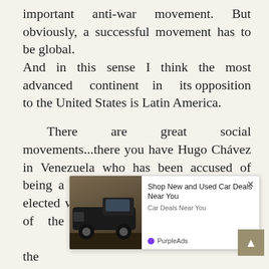important anti-war movement. But obviously, a successful movement has to be global. And in this sense I think the most advanced continent in its opposition to the United States is Latin America.
There are great social movements...there you have Hugo Chávez in Venezuela who has been accused of being a dictator even when he has been elected with more votes than the majority of the Western politicians. Vene... the... mobi... the government which makes
[Figure (screenshot): Advertisement overlay showing a black truck/SUV with text 'Shop New and Used Car Deals Near You' and 'Car Deals Near You', with PurpleAds branding and a close button.]